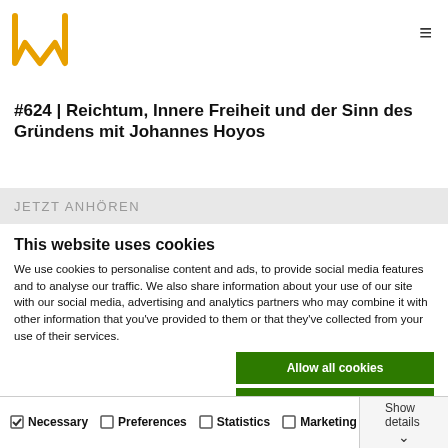[Figure (logo): Gold/orange stylized W crown logo]
#624 | Reichtum, Innere Freiheit und der Sinn des Gründens mit Johannes Hoyos
JETZT ANHÖREN
This website uses cookies
We use cookies to personalise content and ads, to provide social media features and to analyse our traffic. We also share information about your use of our site with our social media, advertising and analytics partners who may combine it with other information that you've provided to them or that they've collected from your use of their services.
Allow all cookies
Allow selection
Use necessary cookies only
Necessary  Preferences  Statistics  Marketing  Show details